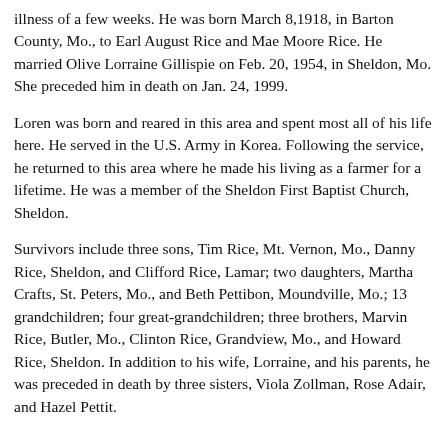illness of a few weeks. He was born March 8,1918, in Barton County, Mo., to Earl August Rice and Mae Moore Rice. He married Olive Lorraine Gillispie on Feb. 20, 1954, in Sheldon, Mo. She preceded him in death on Jan. 24, 1999.
Loren was born and reared in this area and spent most all of his life here. He served in the U.S. Army in Korea. Following the service, he returned to this area where he made his living as a farmer for a lifetime. He was a member of the Sheldon First Baptist Church, Sheldon.
Survivors include three sons, Tim Rice, Mt. Vernon, Mo., Danny Rice, Sheldon, and Clifford Rice, Lamar; two daughters, Martha Crafts, St. Peters, Mo., and Beth Pettibon, Moundville, Mo.; 13 grandchildren; four great-grandchildren; three brothers, Marvin Rice, Butler, Mo., Clinton Rice, Grandview, Mo., and Howard Rice, Sheldon. In addition to his wife, Lorraine, and his parents, he was preceded in death by three sisters, Viola Zollman, Rose Adair, and Hazel Pettit.